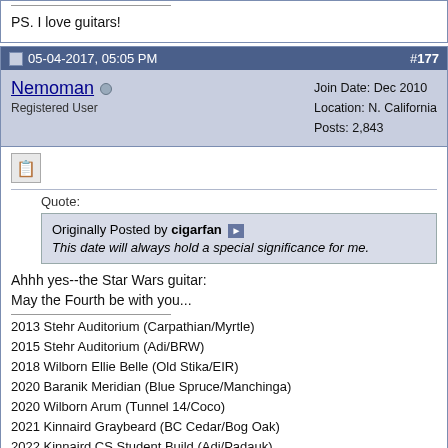PS. I love guitars!
05-04-2017, 05:05 PM  #177
Nemoman  Registered User  Join Date: Dec 2010  Location: N. California  Posts: 2,843
Quote: Originally Posted by cigarfan — This date will always hold a special significance for me.
Ahhh yes--the Star Wars guitar:

May the Fourth be with you...
2013 Stehr Auditorium (Carpathian/Myrtle)
2015 Stehr Auditorium (Adi/BRW)
2018 Wilborn Ellie Belle (Old Stika/EIR)
2020 Baranik Meridian (Blue Spruce/Manchinga)
2020 Wilborn Arum (Tunnel 14/Coco)
2021 Kinnaird Graybeard (BC Cedar/Bog Oak)
2022 Kinnaird CS Student Build (Adi/Padauk)
05-04-2017, 05:50 PM  #178